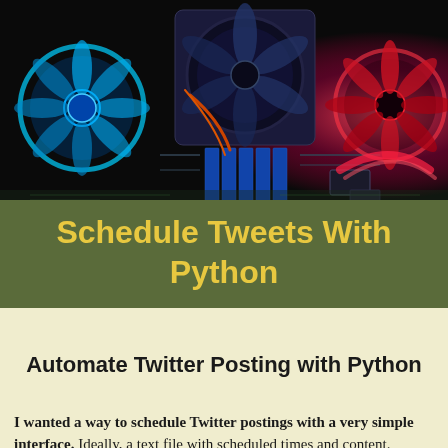[Figure (photo): Photo of a computer motherboard interior with colorful LED fans — blue fan on left, red glow on right, RAM sticks and cooling components visible in dark lighting]
Schedule Tweets With Python
Automate Twitter Posting with Python
I wanted a way to schedule Twitter postings with a very simple interface. Ideally, a text file with scheduled times and content. TweetDeck is a great dashboard interface for many tasks on Twitter, but it didn't provide what I want. You can schedule tweets with TweetDeck, but